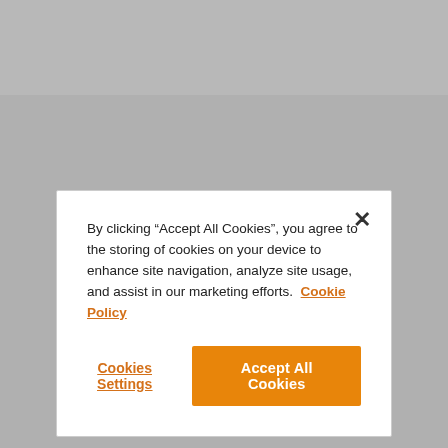[Figure (screenshot): Cookie consent modal dialog with close button, cookie policy text, Cookies Settings link, and Accept All Cookies button]
By clicking “Accept All Cookies”, you agree to the storing of cookies on your device to enhance site navigation, analyze site usage, and assist in our marketing efforts.  Cookie Policy
Cookies Settings
Accept All Cookies
IS EADA OFFERING STUDENTS ACCOMMODATIONS?
IS BARCELONA A SAFE CITY?
WHERE IS THE EADA CAMPUS LOCATED?